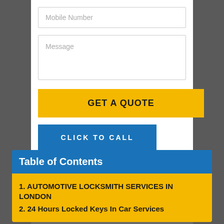[Figure (screenshot): Form with Mobile Number input field, Message textarea, GET A QUOTE yellow button, CLICK TO CALL blue button, on a white panel over stone background]
Table of Contents
1. AUTOMOTIVE LOCKSMITH SERVICES IN LONDON
2. 24 Hours Locked Keys In Car Services